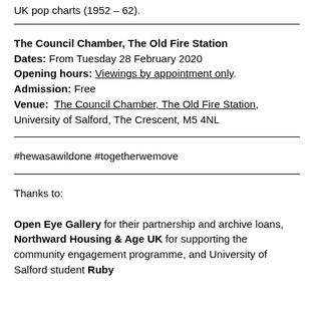UK pop charts (1952 – 62).
The Council Chamber, The Old Fire Station
Dates: From Tuesday 28 February 2020
Opening hours: Viewings by appointment only.
Admission: Free
Venue: The Council Chamber, The Old Fire Station, University of Salford, The Crescent, M5 4NL
#hewasawildone #togetherwemove
Thanks to:

Open Eye Gallery for their partnership and archive loans, Northward Housing & Age UK for supporting the community engagement programme, and University of Salford student Ruby